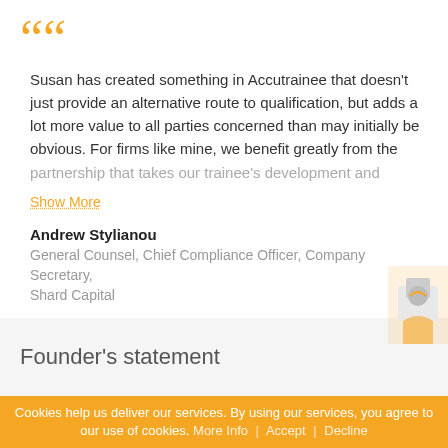““ Susan has created something in Accutrainee that doesn’t just provide an alternative route to qualification, but adds a lot more value to all parties concerned than may initially be obvious. For firms like mine, we benefit greatly from the partnership that takes our trainee’s development and
Show More
Andrew Stylianou
General Counsel, Chief Compliance Officer, Company Secretary, Shard Capital
Founder’s statement
Cookies help us deliver our services. By using our services, you agree to our use of cookies. More Info | Accept | Decline